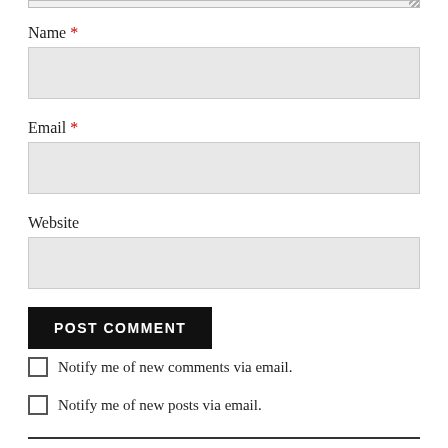Name *
Email *
Website
POST COMMENT
Notify me of new comments via email.
Notify me of new posts via email.
CATEGORIES